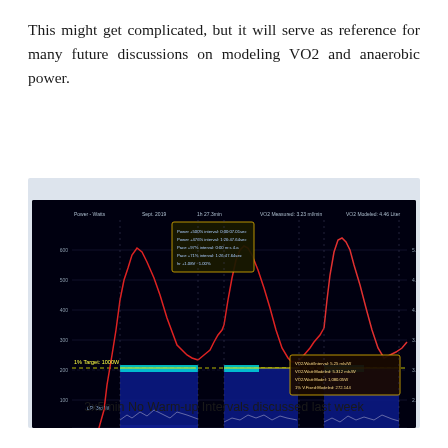This might get complicated, but it will serve as reference for many future discussions on modeling VO2 and anaerobic power.
[Figure (continuous-plot): A performance/training analysis chart showing multiple data series over time including power output (red line with peaks), VO2 data, and interval blocks (blue filled areas) for 3x5min No Warm-up Intervals. The chart has a dark/black background with yellow, red, blue, cyan, and white data series. Tooltip annotations are visible. X-axis shows time, y-axis shows power/VO2 values.]
3x5min No Warm-up Intervals discussed last week